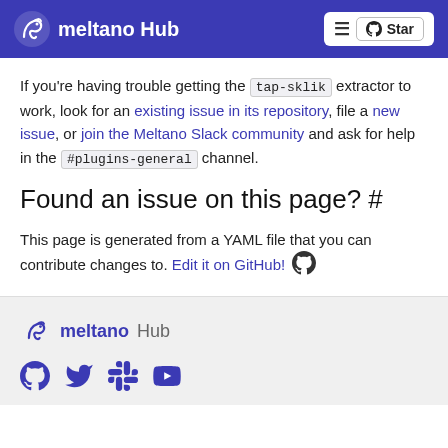Meltano Hub
If you're having trouble getting the tap-sklik extractor to work, look for an existing issue in its repository, file a new issue, or join the Meltano Slack community and ask for help in the #plugins-general channel.
Found an issue on this page? #
This page is generated from a YAML file that you can contribute changes to. Edit it on GitHub!
meltano Hub